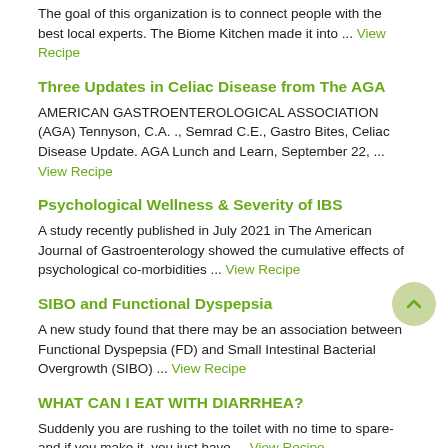The goal of this organization is to connect people with the best local experts. The Biome Kitchen made it into ... View Recipe
Three Updates in Celiac Disease from The AGA
AMERICAN GASTROENTEROLOGICAL ASSOCIATION (AGA) Tennyson, C.A. ., Semrad C.E., Gastro Bites, Celiac Disease Update. AGA Lunch and Learn, September 22, ... View Recipe
Psychological Wellness & Severity of IBS
A study recently published in July 2021 in The American Journal of Gastroenterology showed the cumulative effects of psychological co-morbidities ... View Recipe
SIBO and Functional Dyspepsia
A new study found that there may be an association between Functional Dyspepsia (FD) and Small Intestinal Bacterial Overgrowth (SIBO) ... View Recipe
WHAT CAN I EAT WITH DIARRHEA?
Suddenly you are rushing to the toilet with no time to spare- and if you make it, you just have ... View Recipe
The Elemental Diet & SIBO